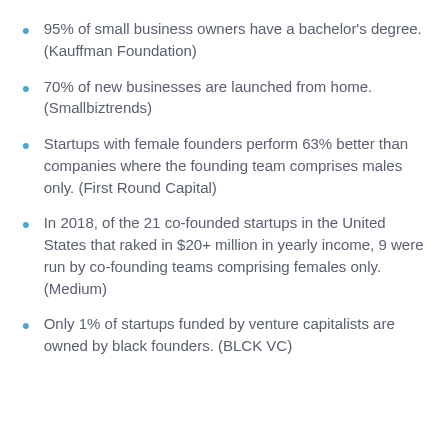95% of small business owners have a bachelor's degree. (Kauffman Foundation)
70% of new businesses are launched from home. (Smallbiztrends)
Startups with female founders perform 63% better than companies where the founding team comprises males only. (First Round Capital)
In 2018, of the 21 co-founded startups in the United States that raked in $20+ million in yearly income, 9 were run by co-founding teams comprising females only. (Medium)
Only 1% of startups funded by venture capitalists are owned by black founders. (BLCK VC)